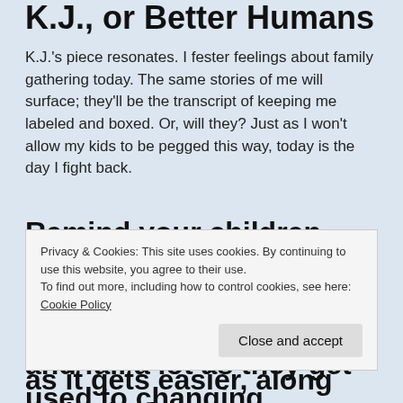K.J., or Better Humans
K.J.'s piece resonates. I fester feelings about family gathering today. The same stories of me will surface; they'll be the transcript of keeping me labeled and boxed. Or, will they? Just as I won't allow my kids to be pegged this way, today is the day I fight back.
Remind your children, too, that growth and change are part of the deal. Lots of children trip and fall a lot as they get used to changing
Privacy & Cookies: This site uses cookies. By continuing to use this website, you agree to their use.
To find out more, including how to control cookies, see here: Cookie Policy
as it gets easier, along with playing